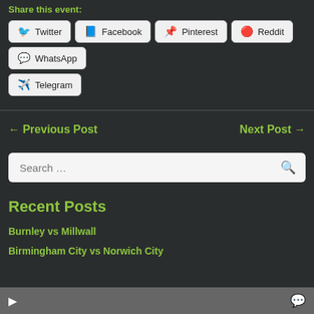Share this event:
Twitter | Facebook | Pinterest | Reddit | WhatsApp | Telegram
← Previous Post
Next Post →
Search …
Recent Posts
Burnley vs Millwall
Birmingham City vs Norwich City